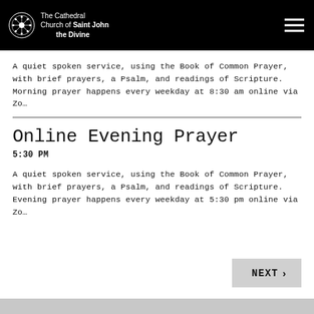The Cathedral Church of Saint John the Divine
A quiet spoken service, using the Book of Common Prayer, with brief prayers, a Psalm, and readings of Scripture. Morning prayer happens every weekday at 8:30 am online via Zo…
Online Evening Prayer
5:30 PM
A quiet spoken service, using the Book of Common Prayer, with brief prayers, a Psalm, and readings of Scripture. Evening prayer happens every weekday at 5:30 pm online via Zo…